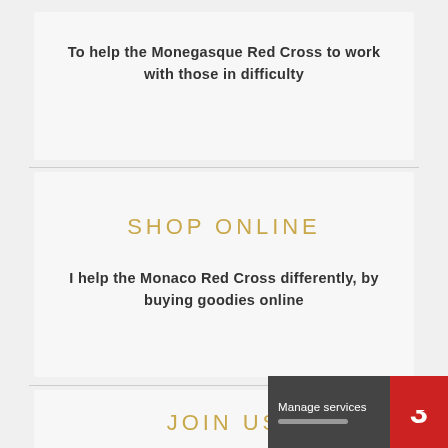To help the Monegasque Red Cross to work with those in difficulty
SHOP ONLINE
I help the Monaco Red Cross differently, by buying goodies online
JOIN US
I volunteer to help the Monegasque...